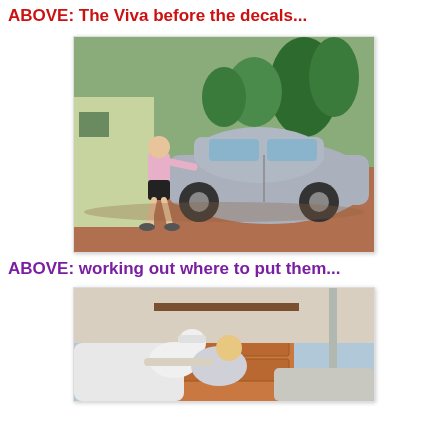ABOVE:  The Viva before the decals...
[Figure (photo): A man in a pink shirt and black shorts standing beside a silver hatchback car, appearing to work on the side of the car. Green trees and a building visible in the background.]
ABOVE:  working out where to put them...
[Figure (photo): Two people leaning over the hood/front of a white car in front of a garage door with brick trim.]